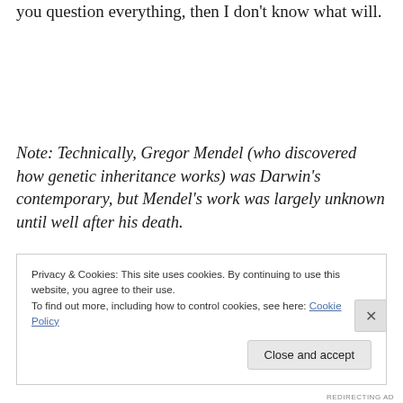you question everything, then I don't know what will.
Note: Technically, Gregor Mendel (who discovered how genetic inheritance works) was Darwin's contemporary, but Mendel's work was largely unknown until well after his death.
Privacy & Cookies: This site uses cookies. By continuing to use this website, you agree to their use.
To find out more, including how to control cookies, see here: Cookie Policy
Close and accept